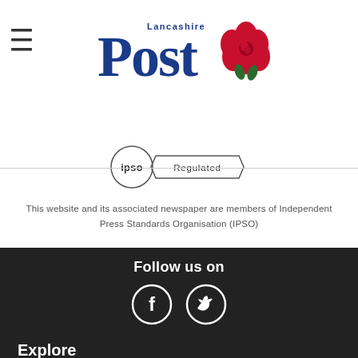[Figure (logo): Lancashire Post newspaper logo with red rose graphic and blue text]
[Figure (logo): IPSO Regulated badge]
This website and its associated newspaper are members of Independent Press Standards Organisation (IPSO)
Follow us on
[Figure (infographic): Facebook and Twitter social media icons (white circles on dark background)]
Explore
News
Sport
PNE
What's On
Post In Preston